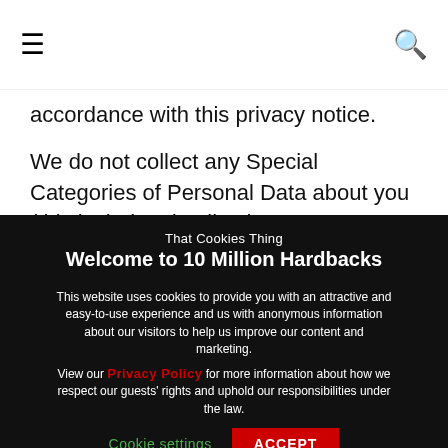≡  🔍
accordance with this privacy notice.
We do not collect any Special Categories of Personal Data about you (this includes details about your race
That Cookies Thing
Welcome to 10 Million Hardbacks
This website uses cookies to provide you with an attractive and easy-to-use experience and us with anonymous information about our visitors to help us improve our content and marketing.
View our Privacy Policy for more information about how we respect our guests' rights and uphold our responsibilities under the law.
Cookie settings   ACCEPT